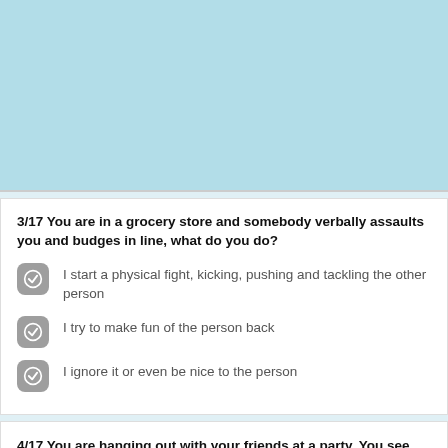[Figure (other): Light blue empty image block at the top of the page]
3/17 You are in a grocery store and somebody verbally assaults you and budges in line, what do you do?
I start a physical fight, kicking, pushing and tackling the other person
I try to make fun of the person back
I ignore it or even be nice to the person
4/17 You are hanging out with your friends at a party. You see one piece of candy on the table and you want it badly